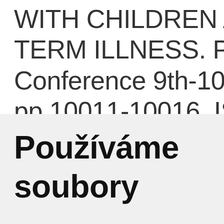WITH CHILDREN AFF TERM ILLNESS. Proce Conference 9th-10th pp.10011-10016. ISB
Používáme soubory